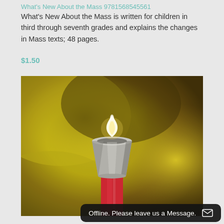What's New About the Mass 9781568545561
What's New About the Mass is written for children in third through seventh grades and explains the changes in Mass texts; 48 pages.
$1.50
[Figure (photo): Close-up photo of a lit candle with a silver candle follower/candle snuffer on a red candle, against a blurred yellow and brown background.]
Offline. Please leave us a Message.